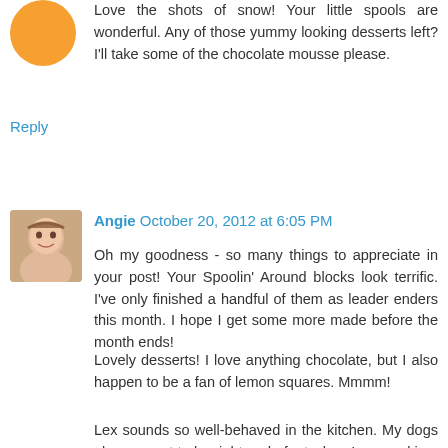Love the shots of snow! Your little spools are wonderful. Any of those yummy looking desserts left? I'll take some of the chocolate mousse please.
Reply
Angie  October 20, 2012 at 6:05 PM
Oh my goodness - so many things to appreciate in your post! Your Spoolin' Around blocks look terrific. I've only finished a handful of them as leader enders this month. I hope I get some more made before the month ends!
Lovely desserts! I love anything chocolate, but I also happen to be a fan of lemon squares. Mmmm!
Lex sounds so well-behaved in the kitchen. My dogs always want to be right underfoot when I am cooking. Hoping for dropped goodies, I suppose!
And snow already?! I can't imagine it! Last night was about the coolest overnight temp we've had yet - 55 degrees (13 C). I'm happy to have a break from our summer heat, but